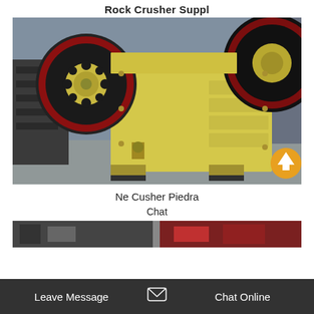Rock Crusher Suppl
[Figure (photo): Large yellow jaw rock crusher machine with red-rimmed flywheel on left side and ribbed body panels, photographed in an industrial warehouse setting. An orange circular up-arrow button is visible in the lower right corner of the image.]
Ne Crusher Piedra
Chat
[Figure (photo): Partial view of industrial machinery thumbnails at the bottom of the page, partially obscured by a dark overlay bar.]
Leave Message   Home   Chat Online